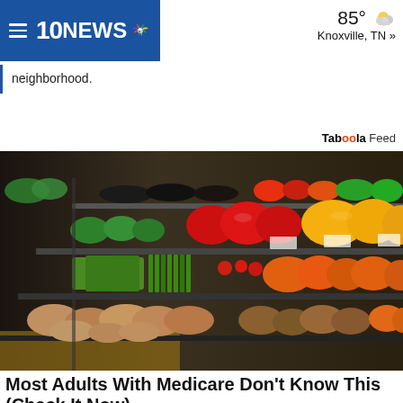10NEWS | 85° Knoxville, TN »
neighborhood.
Taboola Feed
[Figure (photo): Grocery store produce aisle with colorful fruits and vegetables on multiple refrigerated shelves — peppers, potatoes, asparagus, carrots, tomatoes, etc.]
Most Adults With Medicare Don't Know This (Check It Now)